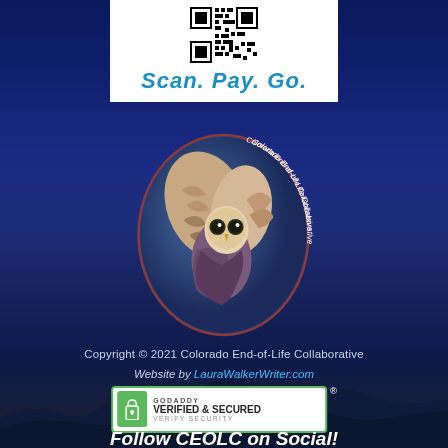[Figure (other): QR code with 'Scan. Pay. Go.' text on white background panel at top]
[Figure (logo): Oval logo of Colorado End-of-Life Collaborative featuring a barn owl illustration with text around the border]
Copyright © 2021 Colorado End-of-Life Collaborative
Website by LauraWalkerWriter.com
[Figure (other): GoDaddy Verified & Secured badge with registered trademark symbol]
Follow CEOLC on Social!
[Figure (other): Social media icons: Facebook, Instagram, YouTube]